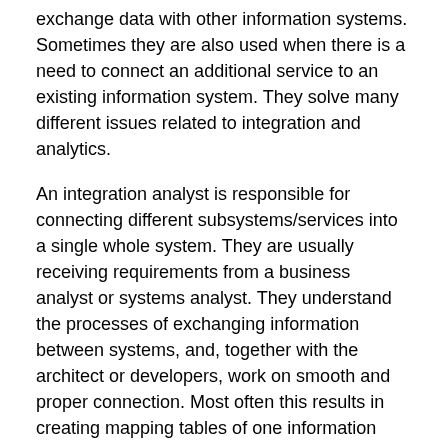exchange data with other information systems. Sometimes they are also used when there is a need to connect an additional service to an existing information system. They solve many different issues related to integration and analytics.
An integration analyst is responsible for connecting different subsystems/services into a single whole system. They are usually receiving requirements from a business analyst or systems analyst. They understand the processes of exchanging information between systems, and, together with the architect or developers, work on smooth and proper connection. Most often this results in creating mapping tables of one information object and converting the format to another.
An integration analyst should:
be able to analyze business processes;